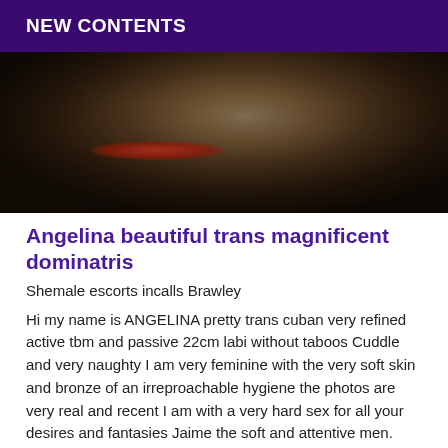NEW CONTENTS
[Figure (photo): Photo of a person lying on a grey fur surface with red rose petals scattered around]
Angelina beautiful trans magnificent dominatris
Shemale escorts incalls Brawley
Hi my name is ANGELINA pretty trans cuban very refined active tbm and passive 22cm labi without taboos Cuddle and very naughty I am very feminine with the very soft skin and bronze of an irreproachable hygiene the photos are very real and recent I am with a very hard sex for all your desires and fantasies Jaime the soft and attentive men.